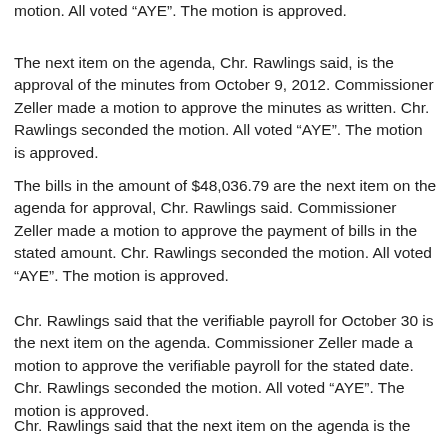motion. All voted “AYE”. The motion is approved.
The next item on the agenda, Chr. Rawlings said, is the approval of the minutes from October 9, 2012. Commissioner Zeller made a motion to approve the minutes as written. Chr. Rawlings seconded the motion. All voted “AYE”. The motion is approved.
The bills in the amount of $48,036.79 are the next item on the agenda for approval, Chr. Rawlings said. Commissioner Zeller made a motion to approve the payment of bills in the stated amount. Chr. Rawlings seconded the motion. All voted “AYE”. The motion is approved.
Chr. Rawlings said that the verifiable payroll for October 30 is the next item on the agenda. Commissioner Zeller made a motion to approve the verifiable payroll for the stated date. Chr. Rawlings seconded the motion. All voted “AYE”. The motion is approved.
Chr. Rawlings said that the next item on the agenda is the